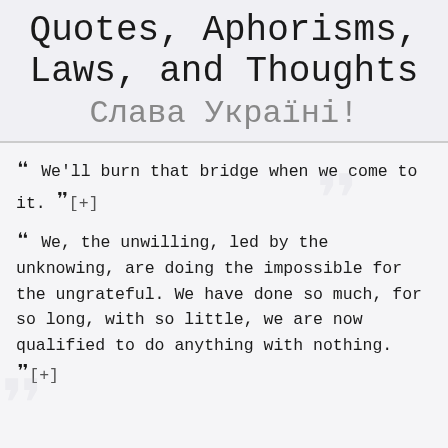Quotes, Aphorisms, Laws, and Thoughts
Слава Україні!
“We'll burn that bridge when we come to it.”[+]
“We, the unwilling, led by the unknowing, are doing the impossible for the ungrateful. We have done so much, for so long, with so little, we are now qualified to do anything with nothing.”[+]